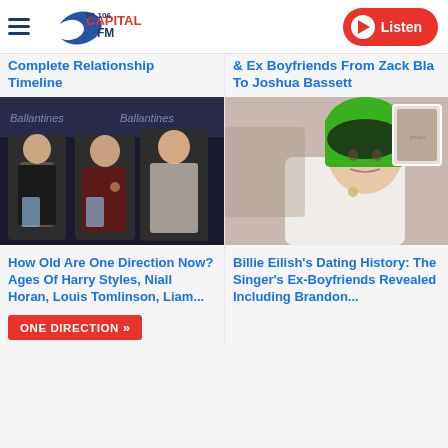Capital FM 95-106 | Listen
Complete Relationship Timeline
& Ex Boyfriends From Zack Bla To Joshua Bassett
[Figure (photo): Three members of One Direction (Zayn, Louis, Harry) posing at a Ballantines event holding awards]
[Figure (photo): Billie Eilish with green and black hair wearing a white coat, with smaller photo inset in background]
How Old Are One Direction Now? Ages Of Harry Styles, Niall Horan, Louis Tomlinson, Liam...
Billie Eilish's Dating History: The Singer's Ex-Boyfriends Revealed Including Brandon...
ONE DIRECTION »